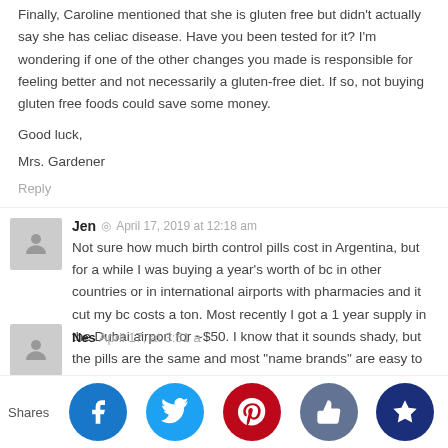Finally, Caroline mentioned that she is gluten free but didn't actually say she has celiac disease. Have you been tested for it? I'm wondering if one of the other changes you made is responsible for feeling better and not necessarily a gluten-free diet. If so, not buying gluten free foods could save some money.
Good luck,
Mrs. Gardener
Reply
Jen  ·  April 17, 2019 at 12:18 am
Not sure how much birth control pills cost in Argentina, but for a while I was buying a year's worth of bc in other countries or in international airports with pharmacies and it cut my bc costs a ton. Most recently I got a 1 year supply in the Dubai airport for ~$50. I know that it sounds shady, but the pills are the same and most "name brands" are easy to find inexpensively outside of the US.
R...
Nes...   April 17, ...d at 3:51 a...
Shares